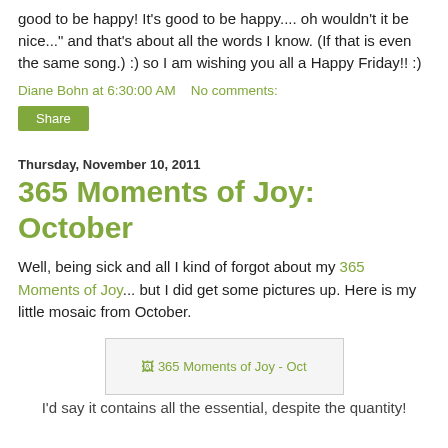good to be happy! It's good to be happy.... oh wouldn't it be nice..." and that's about all the words I know. (If that is even the same song.) :) so I am wishing you all a Happy Friday!! :)
Diane Bohn at 6:30:00 AM   No comments:
Share
Thursday, November 10, 2011
365 Moments of Joy: October
Well, being sick and all I kind of forgot about my 365 Moments of Joy... but I did get some pictures up. Here is my little mosaic from October.
[Figure (photo): Broken image placeholder for '365 Moments of Joy - Oct']
I'd say it contains all the essential, despite the quantity!